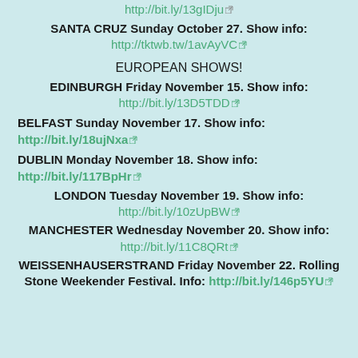http://bit.ly/13gIDju
SANTA CRUZ Sunday October 27. Show info:
http://tktwb.tw/1avAyVC
EUROPEAN SHOWS!
EDINBURGH Friday November 15. Show info:
http://bit.ly/13D5TDD
BELFAST Sunday November 17. Show info: http://bit.ly/18ujNxa
DUBLIN Monday November 18. Show info: http://bit.ly/117BpHr
LONDON Tuesday November 19. Show info:
http://bit.ly/10zUpBW
MANCHESTER Wednesday November 20. Show info:
http://bit.ly/11C8QRt
WEISSENHAUSERSTRAND Friday November 22. Rolling Stone Weekender Festival. Info: http://bit.ly/146p5YU